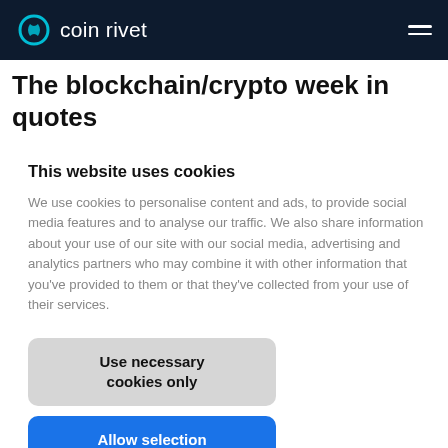coin rivet
The blockchain/crypto week in quotes
This website uses cookies
We use cookies to personalise content and ads, to provide social media features and to analyse our traffic. We also share information about your use of our site with our social media, advertising and analytics partners who may combine it with other information that you've provided to them or that they've collected from your use of their services.
Use necessary cookies only
Allow selection